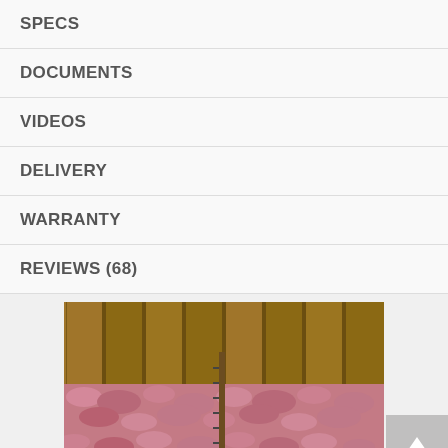SPECS
DOCUMENTS
VIDEOS
DELIVERY
WARRANTY
REVIEWS (68)
[Figure (photo): Photo of pink blown-in insulation in an attic space with wooden framing boards visible above and a measuring stick/ruler inserted vertically into the insulation.]